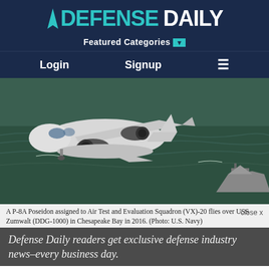DEFENSE DAILY
Featured Categories
Login   Signup   ☰
[Figure (photo): Aerial photo of a P-8A Poseidon aircraft flying over ocean water with USS Zumwalt (DDG-1000) visible in the background, taken in Chesapeake Bay in 2016.]
A P-8A Poseidon assigned to Air Test and Evaluation Squadron (VX)-20 flies over USS Zumwalt (DDG-1000) in Chesapeake Bay in 2016. (Photo: U.S. Navy)
Defense Daily readers get exclusive defense industry news–every business day.